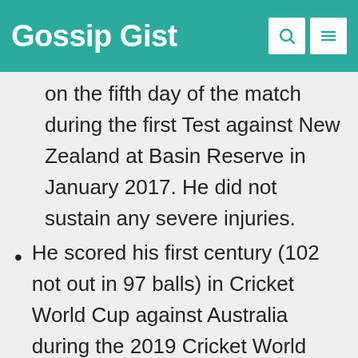Gossip Gist
on the fifth day of the match during the first Test against New Zealand at Basin Reserve in January 2017. He did not sustain any severe injuries.
He scored his first century (102 not out in 97 balls) in Cricket World Cup against Australia during the 2019 Cricket World Cup.
He was named man of the series after Bangladesh defeated Sri Lanka in a series in 2021 where he